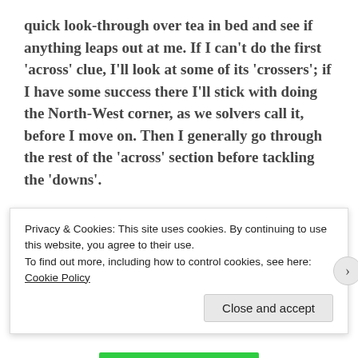quick look-through over tea in bed and see if anything leaps out at me.  If I can't do the first 'across' clue, I'll look at some of its 'crossers'; if I have some success there I'll stick with doing the North-West corner, as we solvers call it, before I move on.  Then I generally go through the rest of the 'across' section before tackling the 'downs'.
How easily I get into it depends on two things: my state of mind and the compiler.
Compilers can be difficult for two reasons:
Privacy & Cookies: This site uses cookies. By continuing to use this website, you agree to their use.
To find out more, including how to control cookies, see here: Cookie Policy